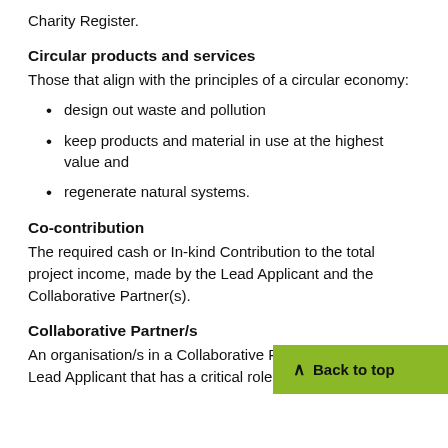Charity Register.
Circular products and services
Those that align with the principles of a circular economy:
design out waste and pollution
keep products and material in use at the highest value and
regenerate natural systems.
Co-contribution
The required cash or In-kind Contribution to the total project income, made by the Lead Applicant and the Collaborative Partner(s).
Collaborative Partner/s
An organisation/s in a Collaborative Partnership with a Lead Applicant that has a critical role in the project and